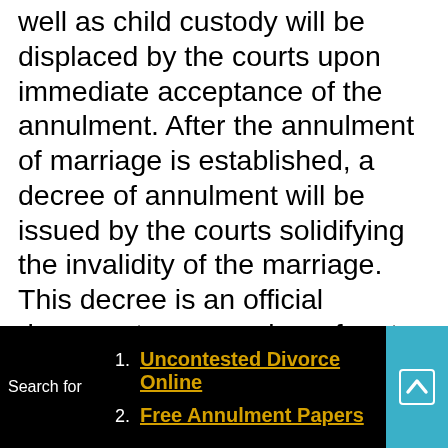well as child custody will be displaced by the courts upon immediate acceptance of the annulment. After the annulment of marriage is established, a decree of annulment will be issued by the courts solidifying the invalidity of the marriage. This decree is an official document, an overview of sorts, stipulating the clauses and movement of cash, property, and child custody rights. Depending on distribution factors and contestants involved an annulment can take as little as a month or as a long as a year to be completed. If one is planning an annulment expect a very long and tedious court process. The
Search for
1. Uncontested Divorce Online
2. Free Annulment Papers